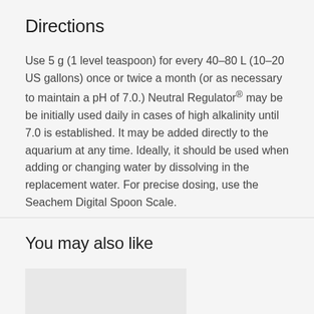Directions
Use 5 g (1 level teaspoon) for every 40–80 L (10–20 US gallons) once or twice a month (or as necessary to maintain a pH of 7.0.) Neutral Regulator® may be be initially used daily in cases of high alkalinity until 7.0 is established. It may be added directly to the aquarium at any time. Ideally, it should be used when adding or changing water by dissolving in the replacement water. For precise dosing, use the Seachem Digital Spoon Scale.
You may also like
[Figure (photo): Product image placeholder (gray rectangle)]